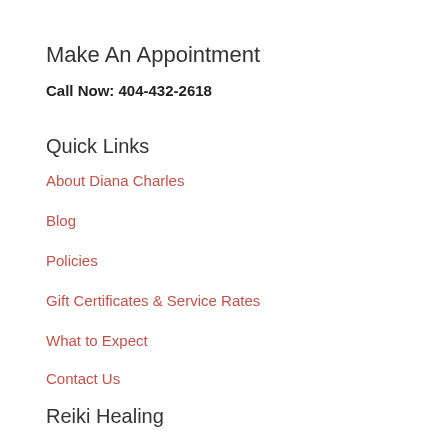Make An Appointment
Call Now: 404-432-2618
Quick Links
About Diana Charles
Blog
Policies
Gift Certificates & Service Rates
What to Expect
Contact Us
Reiki Healing
Reiki Class Schedule
Reiki Classes